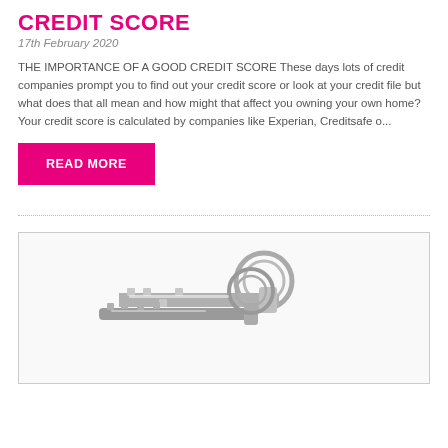CREDIT SCORE
17th February 2020
THE IMPORTANCE OF A GOOD CREDIT SCORE These days lots of credit companies prompt you to find out your credit score or look at your credit file but what does that all mean and how might that affect you owning your own home? Your credit score is calculated by companies like Experian, Creditsafe o...
READ MORE
[Figure (photo): Photo of house keys on a key ring against a white background, inside a bordered image box]